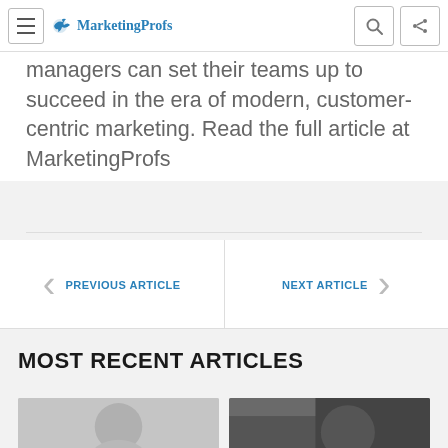MarketingProfs
managers can set their teams up to succeed in the era of modern, customer-centric marketing. Read the full article at MarketingProfs
PREVIOUS ARTICLE
NEXT ARTICLE
MOST RECENT ARTICLES
[Figure (photo): Two article thumbnail images side by side. Left: a smiling woman. Right: a person in dark clothing with 'BECOME A SPONSOR' overlay text.]